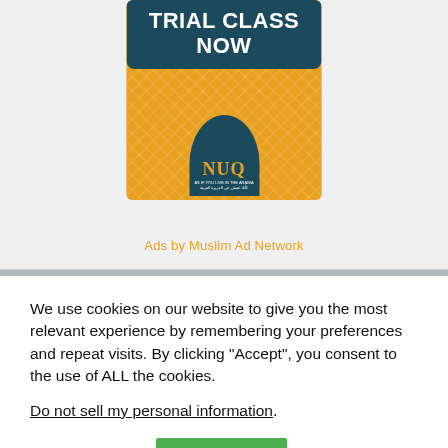[Figure (illustration): An advertisement banner on an orange background with Islamic geometric pattern. At the top is a dark teal/navy rounded rectangle with white bold text reading 'TRIAL CLASS NOW'. At the bottom center is a dark teal arch/mosque-shaped logo with 'NUQ' in gold letters and small white Arabic text below.]
Ads by Muslim Ad Network
We use cookies on our website to give you the most relevant experience by remembering your preferences and repeat visits. By clicking “Accept”, you consent to the use of ALL the cookies.
Do not sell my personal information.
Cookie settings
ACCEPT